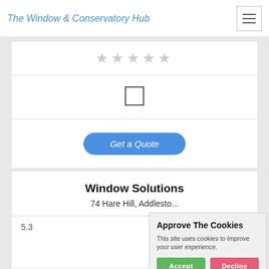The Window & Conservatory Hub
[Figure (other): Five empty star rating icons in grey]
[Figure (other): Empty checkbox / square icon]
Get a Quote
Window Solutions
74 Hare Hill, Addlesto...
5.3
Approve The Cookies
This site uses cookies to improve your user experience.
Accept  Decline
Cookie policy